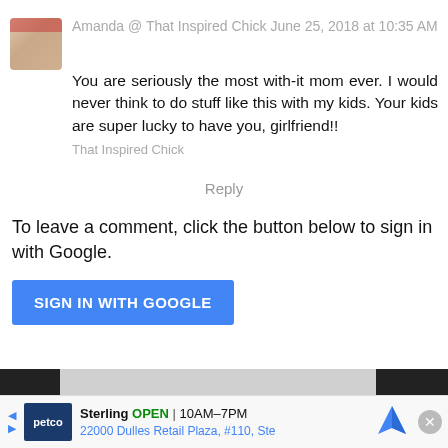Amanda @ That Inspired Chick June 25, 2018 at 10:35 AM
You are seriously the most with-it mom ever. I would never think to do stuff like this with my kids. Your kids are super lucky to have you, girlfriend!!
That Inspired Chick
Reply
To leave a comment, click the button below to sign in with Google.
SIGN IN WITH GOOGLE
[Figure (screenshot): Advertisement for Petco Sterling store showing logo, open hours 10AM-7PM, address 22000 Dulles Retail Plaza #110 Ste, with navigation arrow and close button]